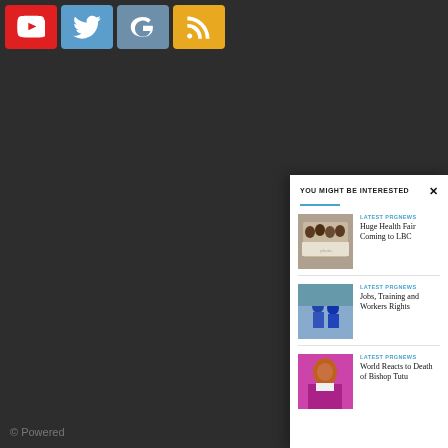[Figure (screenshot): Social media icon buttons: YouTube (red), Twitter (blue), Google+ (steel blue), RSS (orange/yellow)]
YOU MIGHT BE INTERESTED
[Figure (photo): Group of people in white shirts holding a banner]
LATEST PRGNEWS
Huge Health Fair Coming to LBC
[Figure (photo): People in blue shirts at an outdoor event]
LATEST PRGNEWS
Jobs, Training and Workers Rights
[Figure (photo): Elderly man smiling wearing purple bishop vestments]
LATEST PRGNEWS
World Reacts to Death of Bishop Tutu
© Powered